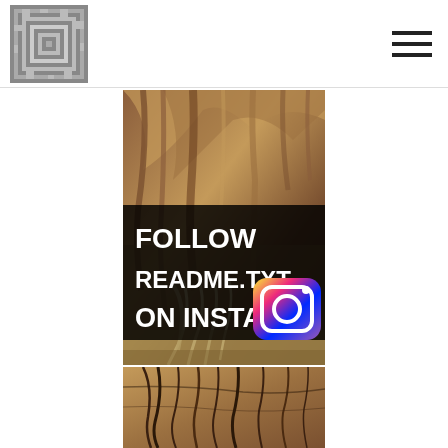[Figure (logo): Square decorative maze/labyrinth pattern logo in grayscale]
[Figure (illustration): Hamburger menu icon (three horizontal lines)]
[Figure (photo): Main promotional image: artistic painting detail showing clawed feet/talons and flowing forms with overlaid black banner text reading FOLLOW README.TXT ON INSTA and Instagram logo icon in bottom right corner]
[Figure (photo): Second partial image at bottom: artistic painting detail showing flowing hair or mane strands]